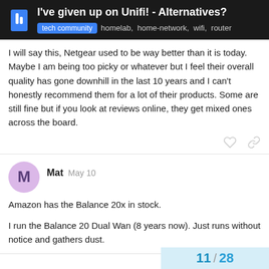I've given up on Unifi! - Alternatives? tech community homelab, home-network, wifi, router
I will say this, Netgear used to be way better than it is today. Maybe I am being too picky or whatever but I feel their overall quality has gone downhill in the last 10 years and I can't honestly recommend them for a lot of their products. Some are still fine but if you look at reviews online, they get mixed ones across the board.
Mat  May 10
Amazon has the Balance 20x in stock.
I run the Balance 20 Dual Wan (8 years now). Just runs without notice and gathers dust.
11 / 28